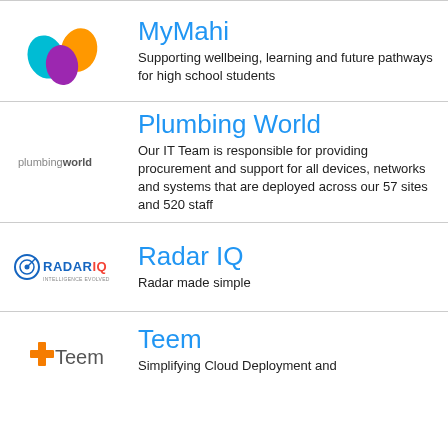[Figure (logo): MyMahi logo — colorful M shape with teal, orange, purple blobs]
MyMahi
Supporting wellbeing, learning and future pathways for high school students
[Figure (logo): Plumbing World text logo in grey]
Plumbing World
Our IT Team is responsible for providing procurement and support for all devices, networks and systems that are deployed across our 57 sites and 520 staff
[Figure (logo): Radar IQ logo with circular radar icon and blue text]
Radar IQ
Radar made simple
[Figure (logo): Teem logo with orange plus/cross icon and grey Teem text]
Teem
Simplifying Cloud Deployment and Operations